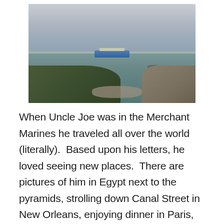[Figure (photo): Coastal landscape photograph showing a large cargo/container ship on a gray-green sea, with a rocky outcrop in the mid-ground, green vegetation on the left foreground, and cloudy gray sky.]
When Uncle Joe was in the Merchant Marines he traveled all over the world (literally).  Based upon his letters, he loved seeing new places.  There are pictures of him in Egypt next to the pyramids, strolling down Canal Street in New Orleans, enjoying dinner in Paris, and exploring the Alamo in Texas.  He traveled to Europe and researched the family's genealogy in Spain and visited the beaches in South Africa.  He enjoyed dancing in Tokyo and went down